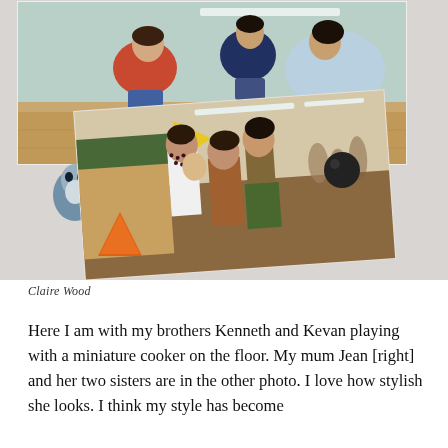[Figure (photo): A collage of two photographs overlapping on a light grey background. The top photo shows three children (two boys and possibly a girl) playing with a miniature cooker on a wooden floor. The bottom photo, slightly rotated, shows three women standing together in what appears to be an indoor setting — one woman holds a baby. Various small props and decorations are visible around the photos including a Totoro stuffed toy, a black balloon, a yellow flag, and an orange party hat.]
Claire Wood
Here I am with my brothers Kenneth and Kevan playing with a miniature cooker on the floor. My mum Jean [right] and her two sisters are in the other photo. I love how stylish she looks. I think my style has become quite similar to hers over the years. I started to